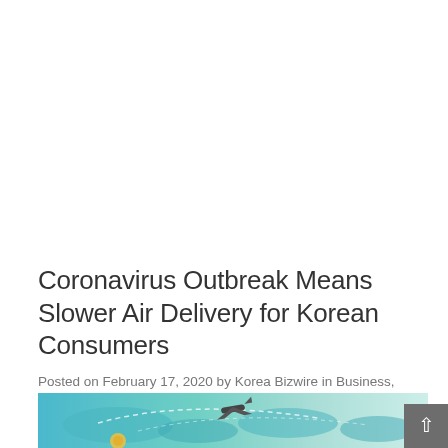Coronavirus Outbreak Means Slower Air Delivery for Korean Consumers
Posted on February 17, 2020 by Korea Bizwire in Business, Industries, Retail & Consumer Goods, Top News with 0 Comments
[Figure (photo): A small broken/loading image placeholder icon]
[Figure (illustration): Partial view of an illustrated world map with airplane silhouette and dashed flight path lines, in teal/blue tones]